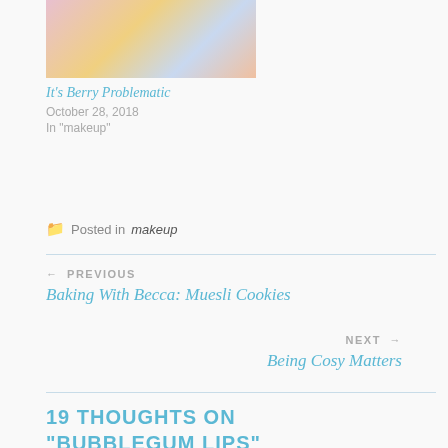[Figure (photo): Thumbnail photo of a person with blonde hair and bright makeup, partially visible]
It's Berry Problematic
October 28, 2018
In "makeup"
Posted in makeup
← PREVIOUS
Baking With Becca: Muesli Cookies
NEXT →
Being Cosy Matters
19 THOUGHTS ON
"BUBBLEGUM LIPS"